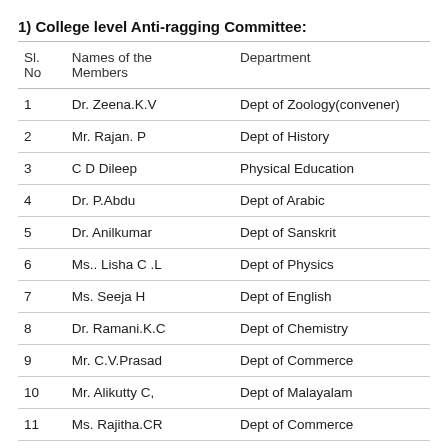1) College level Anti-ragging Committee:
| Sl. No | Names of the Members | Department |
| --- | --- | --- |
| 1 | Dr. Zeena.K.V | Dept of Zoology(convener) |
| 2 | Mr. Rajan. P | Dept of History |
| 3 | C D Dileep | Physical Education |
| 4 | Dr. P.Abdu | Dept of Arabic |
| 5 | Dr. Anilkumar | Dept of Sanskrit |
| 6 | Ms.. Lisha C .L | Dept of Physics |
| 7 | Ms. Seeja H | Dept of English |
| 8 | Dr. Ramani.K.C | Dept of Chemistry |
| 9 | Mr. C.V.Prasad | Dept of Commerce |
| 10 | Mr. Alikutty C, | Dept of Malayalam |
| 11 | Ms. Rajitha.CR | Dept of Commerce |